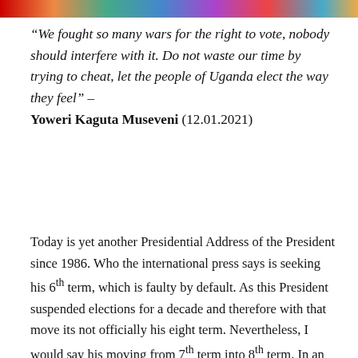[Figure (photo): Colorful image strip at top of page]
“We fought so many wars for the right to vote, nobody should interfere with it. Do not waste our time by trying to cheat, let the people of Uganda elect the way they feel” – Yoweri Kaguta Museveni (12.01.2021)
Today is yet another Presidential Address of the President since 1986. Who the international press says is seeking his 6th term, which is faulty by default. As this President suspended elections for a decade and therefore with that move its not officially his eight term. Nevertheless, I would say his moving from 7th term into 8th term. In an violent election and oppressive one. Where opposition activists, candidates and team members are taken away, arrested and even found dead. That is the election of 2021. That is the character of which this President is delivering.